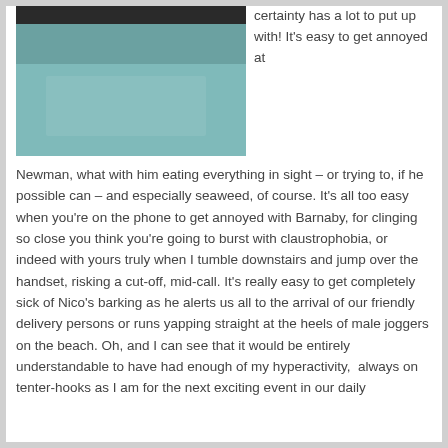[Figure (photo): A close-up photo showing a teal/blue-green surface with a dark edge at the top, likely a book or cushion cover.]
certainty has a lot to put up with! It's easy to get annoyed at Newman, what with him eating everything in sight – or trying to, if he possible can – and especially seaweed, of course. It's all too easy when you're on the phone to get annoyed with Barnaby, for clinging so close you think you're going to burst with claustrophobia, or indeed with yours truly when I tumble downstairs and jump over the handset, risking a cut-off, mid-call. It's really easy to get completely sick of Nico's barking as he alerts us all to the arrival of our friendly delivery persons or runs yapping straight at the heels of male joggers on the beach. Oh, and I can see that it would be entirely understandable to have had enough of my hyperactivity,  always on tenter-hooks as I am for the next exciting event in our daily